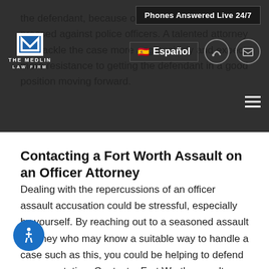Phones Answered Live 24/7 | Español | [nav icons]
the defendant, because of the threat of violence pressed against police officers. A talented attorney can tackle the case more aggressively and expect more resistance to getting the defendant in a good position moving forward.
Contacting a Fort Worth Assault on an Officer Attorney
Dealing with the repercussions of an officer assault accusation could be stressful, especially by yourself. By reaching out to a seasoned assault attorney who may know a suitable way to handle a case such as this, you could be helping to defend your reputation. Contact a Fort Worth assault on an officer lawyer today that could begin working on your case as soon as possible.